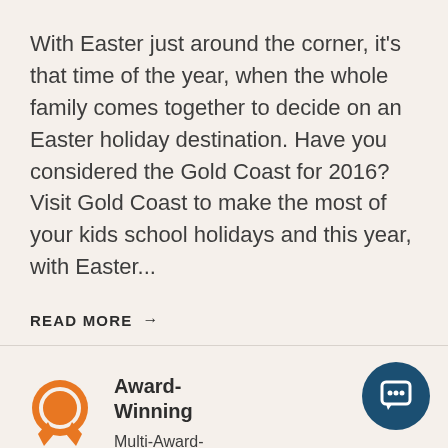With Easter just around the corner, it's that time of the year, when the whole family comes together to decide on an Easter holiday destination. Have you considered the Gold Coast for 2016? Visit Gold Coast to make the most of your kids school holidays and this year, with Easter...
READ MORE →
[Figure (illustration): Orange award/ribbon icon]
Award-Winning
Multi-Award-Winning Apartments
[Figure (illustration): Dark blue circular chat/message button icon in bottom right corner]